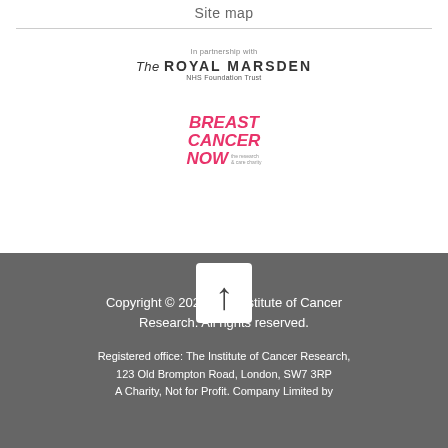Site map
[Figure (logo): In partnership with The Royal Marsden NHS Foundation Trust logo]
[Figure (logo): Breast Cancer Now – the research and care charity logo]
[Figure (other): Back to top arrow button – white rounded rectangle with upward arrow on grey background]
Copyright © 2022 The Institute of Cancer Research. All rights reserved.
Registered office: The Institute of Cancer Research, 123 Old Brompton Road, London, SW7 3RP
A Charity, Not for Profit. Company Limited by